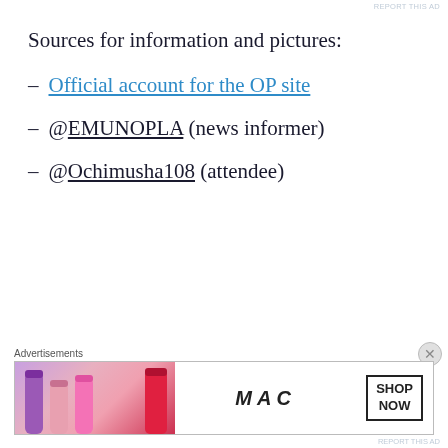REPORT THIS AD
Sources for information and pictures:
– Official account for the OP site
– @EMUNOPLA (news informer)
– @Ochimusha108 (attendee)
[Figure (illustration): MAC cosmetics advertisement banner showing lipsticks with 'MAC' logo and 'SHOP NOW' button]
Advertisements
REPORT THIS AD